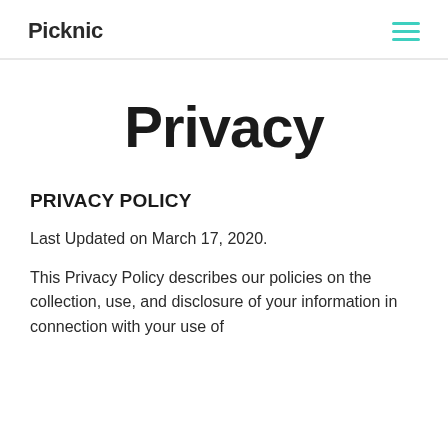Picknic
Privacy
PRIVACY POLICY
Last Updated on March 17, 2020.
This Privacy Policy describes our policies on the collection, use, and disclosure of your information in connection with your use of